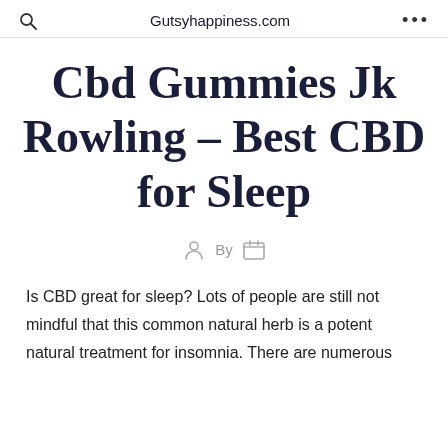Gutsyhappiness.com
Cbd Gummies Jk Rowling – Best CBD for Sleep
By
Is CBD great for sleep? Lots of people are still not mindful that this common natural herb is a potent natural treatment for insomnia. There are numerous